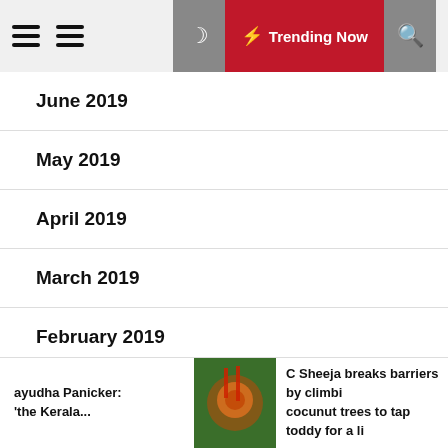Trending Now
June 2019
May 2019
April 2019
March 2019
February 2019
January 2019
December 2018
ayudha Panicker: the Kerala... | C Sheeja breaks barriers by climbing cocunut trees to tap toddy for a li